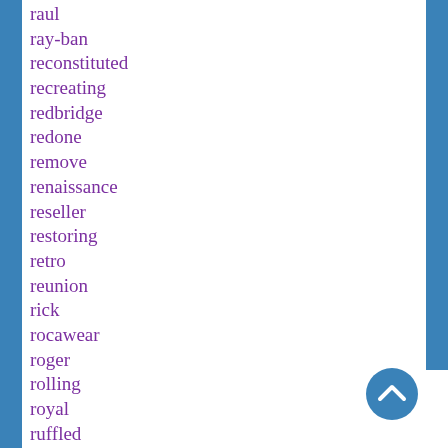raul
ray-ban
reconstituted
recreating
redbridge
redone
remove
renaissance
reseller
restoring
retro
reunion
rick
rocawear
roger
rolling
royal
ruffled
rushton
rustic
sails
[Figure (other): Blue circular back-to-top button with upward chevron arrow]